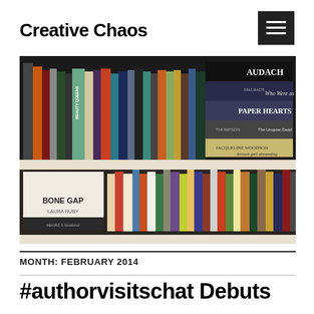Creative Chaos
[Figure (photo): Two shelves of books including visible titles: Beauty Queens, Paper Hearts, brown girl dreaming, Bone Gap, and others on a white bookshelf.]
MONTH: FEBRUARY 2014
#authorvisitschat Debuts